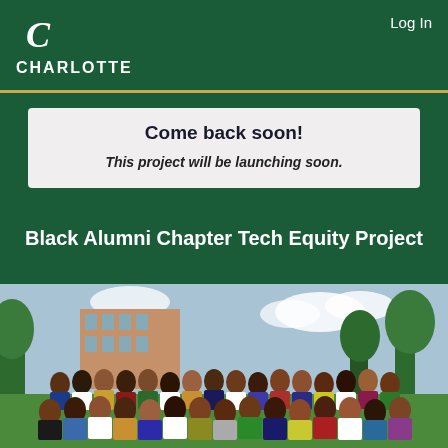CHARLOTTE   Log In
Come back soon!
This project will be launching soon.
Black Alumni Chapter Tech Equity Project
[Figure (photo): Large group photo of diverse students/alumni gathered outdoors on a college campus with trees and brick buildings in the background.]